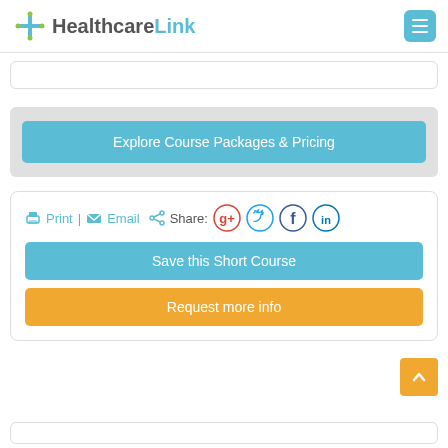HealthcareLink
Explore Course Packages & Pricing
Print | Email  Share:
Save this Short Course
Request more info